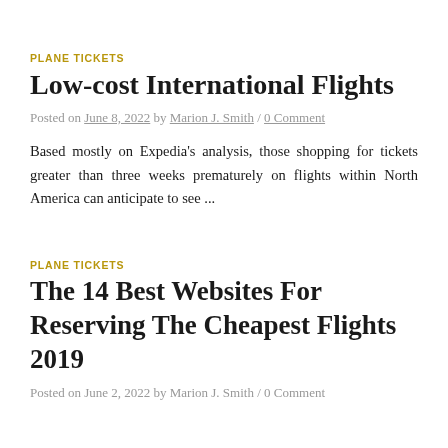PLANE TICKETS
Low-cost International Flights
Posted on June 8, 2022 by Marion J. Smith / 0 Comment
Based mostly on Expedia's analysis, those shopping for tickets greater than three weeks prematurely on flights within North America can anticipate to see ...
PLANE TICKETS
The 14 Best Websites For Reserving The Cheapest Flights 2019
Posted on June 2, 2022 by Marion J. Smith / 0 Comment